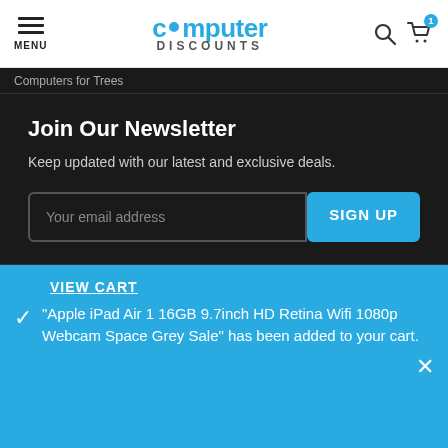computer DISCOUNTS — MENU, search icon, cart icon with item count 1
Computers for Trees
Join Our Newsletter
Keep updated with our latest and exclusive deals.
Your email address [input field] SIGN UP [button]
VIEW CART
"Apple iPad Air 1 16GB 9.7inch HD Retina Wifi 1080p Webcam Space Grey Sale" has been added to your cart.